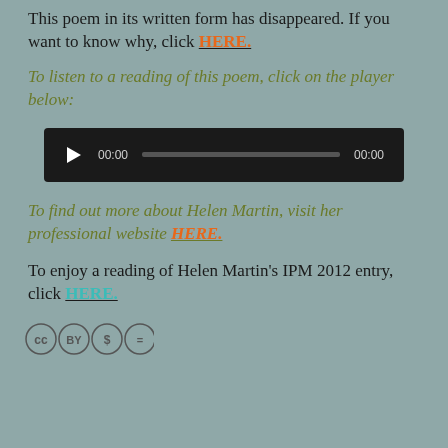This poem in its written form has disappeared. If you want to know why, click HERE.
To listen to a reading of this poem, click on the player below:
[Figure (other): Audio player widget with play button, timestamp 00:00, progress bar, and end time 00:00 on dark background]
To find out more about Helen Martin, visit her professional website HERE.
To enjoy a reading of Helen Martin's IPM 2012 entry, click HERE.
[Figure (other): Creative Commons license icons (CC, BY, NC, ND)]